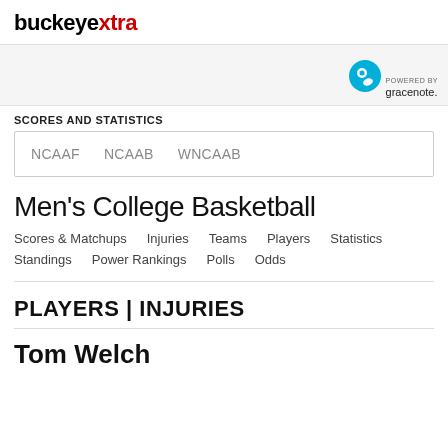buckeyextra
[Figure (logo): Gracenote logo with 'POWERED BY gracenote.' text]
SCORES AND STATISTICS
NCAAF   NCAAB   WNCAAB
Men's College Basketball
Scores & Matchups
Injuries
Teams
Players
Statistics
Standings
Power Rankings
Polls
Odds
PLAYERS | INJURIES
Tom Welch